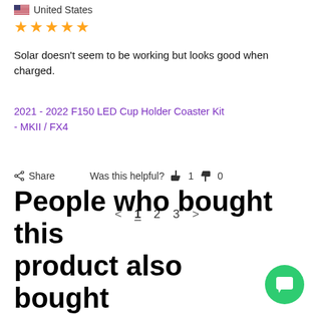[Figure (other): US flag icon next to 'United States' text]
United States
★★★★★
Solar doesn't seem to be working but looks good when charged.
2021 - 2022 F150 LED Cup Holder Coaster Kit
- MKII / FX4
Share   Was this helpful?  👍 1  👎 0
< 1 2 3 >
People who bought this product also bought